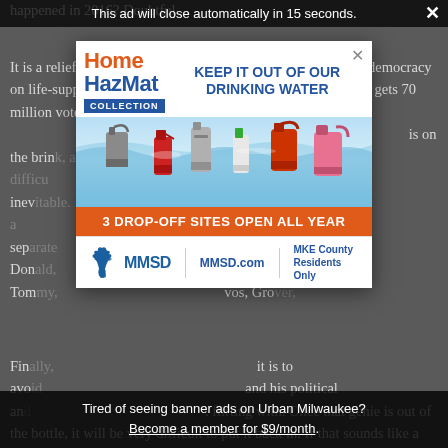happened in 2016? Doubtful
It is a relief that Biden has been elected, but it is the sign of a democracy on life-support when a fraud like Trump, fueled by Fox News, gets 70 million votes, and a large number of those con... at they wan... is on the brin... d it is ofte... le to the inev... t we are bec... rt of sep... ion of Don... Graham, Tom... vos, Gro...
This ad will close automatically in 15 seconds.
[Figure (infographic): Home HazMat Collection advertisement. Header shows 'Home HazMat Collection' logo on left and 'KEEP IT OUT OF OUR DRINKING WATER' tagline on right. Middle section shows hazmat containers submerged in blue water. Orange bar reads '3 DROP-OFF SITES OPEN ALL YEAR'. Bottom shows MMSD logo, MMSD.com, and 'MKE County Residents Only'.]
Tired of seeing banner ads on Urban Milwaukee? Become a member for $9/month.
Fin... it is to avo... and his political an... flirting with. Once that genie is out of the bottle, it will be very difficult to put it back in. If that sounds like a fantasy, how many Americans just a few years ago could imagine having a...